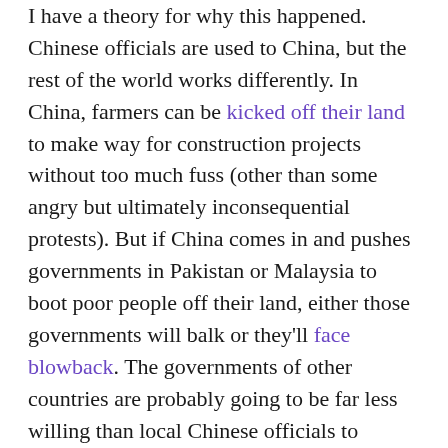I have a theory for why this happened. Chinese officials are used to China, but the rest of the world works differently. In China, farmers can be kicked off their land to make way for construction projects without too much fuss (other than some angry but ultimately inconsequential protests). But if China comes in and pushes governments in Pakistan or Malaysia to boot poor people off their land, either those governments will balk or they'll face blowback. The governments of other countries are probably going to be far less willing than local Chinese officials to sacrifice the livelihoods of their vulnerable populations on the altar of Chinese greatness — both because their social control is less total, and because they themselves don't have nearly as much of a stake in the Chinese system.

Meanwhile, Chinese planners seemed to do a poor job of...